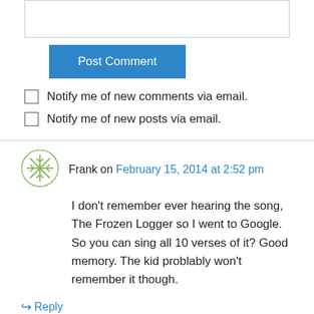[Figure (screenshot): Empty text input box at top of page]
Post Comment
Notify me of new comments via email.
Notify me of new posts via email.
Frank on February 15, 2014 at 2:52 pm
I don't remember ever hearing the song, The Frozen Logger so I went to Google. So you can sing all 10 verses of it? Good memory. The kid problably won't remember it though.
↪ Reply